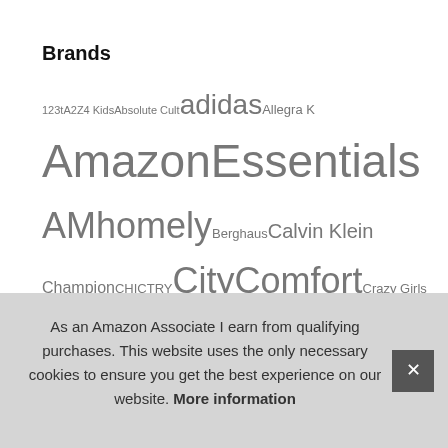Brands
123t A2Z 4 Kids Absolute Cult adidas Allegra K Amazon Essentials AMhomely Berghaus Calvin Klein Champion CHICTRY CityComfort Crazy Girls DANISH ENDURANCE Disney Fortnite Fruit of the Loom Generic GRACE KARIN Harry Potter HEAT HOLDERS Hippowarehouse Janly Clearance Sale Marvel Mountain Warehouse MyShoeStore Nike Peppa Pig Popgear Puma Regatta RIOJOY Roman Originals Rubie's SATINIOR Sienna SIMIYA TACVASEN Tommy Hilfiger We...
As an Amazon Associate I earn from qualifying purchases. This website uses the only necessary cookies to ensure you get the best experience on our website. More information